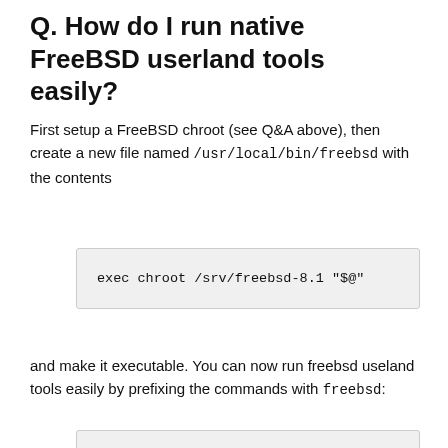Q. How do I run native FreeBSD userland tools easily?
First setup a FreeBSD chroot (see Q&A above), then create a new file named /usr/local/bin/freebsd with the contents
[Figure (other): Code block containing: exec chroot /srv/freebsd-8.1 "$@"]
and make it executable. You can now run freebsd useland tools easily by prefixing the commands with freebsd:
[Figure (other): Code block containing: # uname
GNU/kFreeBSD
# freebsd uname
FreeBSD...]